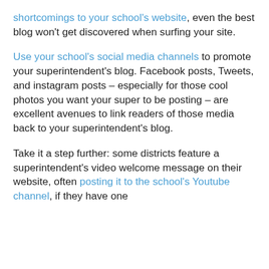shortcomings to your school's website, even the best blog won't get discovered when surfing your site.
Use your school's social media channels to promote your superintendent's blog. Facebook posts, Tweets, and instagram posts – especially for those cool photos you want your super to be posting – are excellent avenues to link readers of those media back to your superintendent's blog.
Take it a step further: some districts feature a superintendent's video welcome message on their website, often posting it to the school's Youtube channel, if they have one